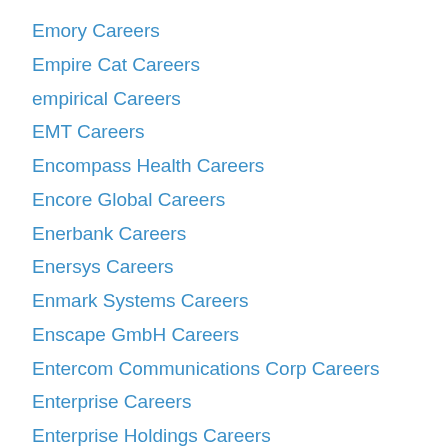Emory Careers
Empire Cat Careers
empirical Careers
EMT Careers
Encompass Health Careers
Encore Global Careers
Enerbank Careers
Enersys Careers
Enmark Systems Careers
Enscape GmbH Careers
Entercom Communications Corp Careers
Enterprise Careers
Enterprise Holdings Careers